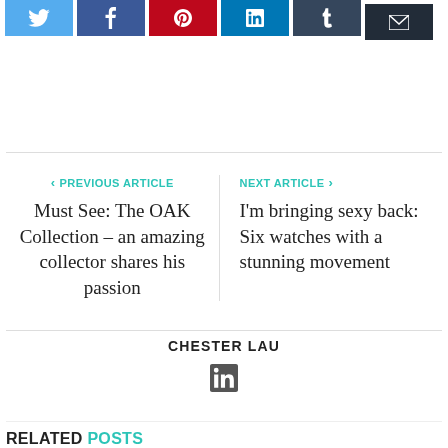[Figure (screenshot): Row of social share buttons: Twitter (light blue), Facebook (dark blue), Pinterest (red), LinkedIn (teal/blue), Tumblr (dark grey), Email (dark charcoal)]
PREVIOUS ARTICLE
Must See: The OAK Collection – an amazing collector shares his passion
NEXT ARTICLE
I'm bringing sexy back: Six watches with a stunning movement
CHESTER LAU
[Figure (logo): LinkedIn icon]
RELATED POSTS